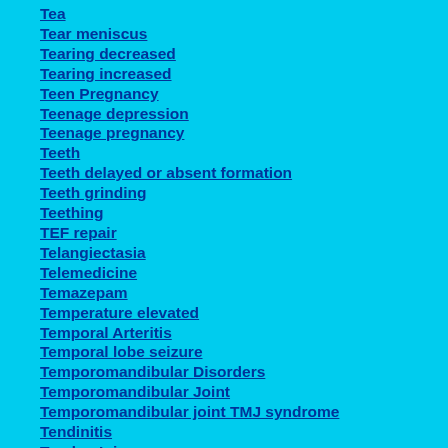Tea
Tear meniscus
Tearing decreased
Tearing increased
Teen Pregnancy
Teenage depression
Teenage pregnancy
Teeth
Teeth delayed or absent formation
Teeth grinding
Teething
TEF repair
Telangiectasia
Telemedicine
Temazepam
Temperature elevated
Temporal Arteritis
Temporal lobe seizure
Temporomandibular Disorders
Temporomandibular Joint
Temporomandibular joint TMJ syndrome
Tendinitis
Tendon Injury
Tendon repair
Tendonitis